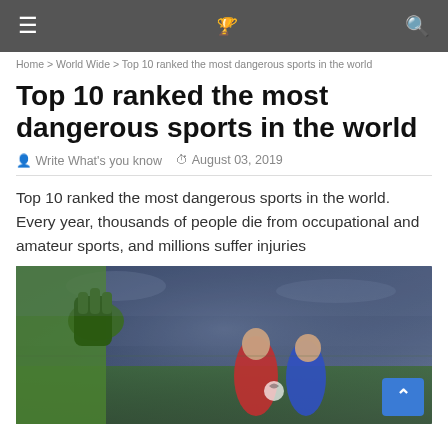≡  [logo]  🔍
Home > World Wide > Top 10 ranked the most dangerous sports in the world
Top 10 ranked the most dangerous sports in the world
👤 Write What's you know  🕐 August 03, 2019
Top 10 ranked the most dangerous sports in the world. Every year, thousands of people die from occupational and amateur sports, and millions suffer injuries
[Figure (photo): Soccer/football action photo showing a goalkeeper in green reaching out with gloved hand, and two players (one in red, one in blue) competing for the ball on a stadium pitch with blurred crowd in background.]